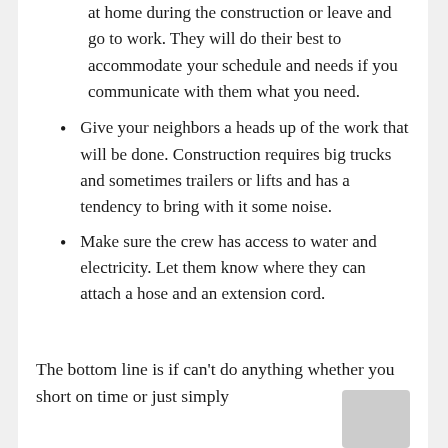at home during the construction or leave and go to work. They will do their best to accommodate your schedule and needs if you communicate with them what you need.
Give your neighbors a heads up of the work that will be done. Construction requires big trucks and sometimes trailers or lifts and has a tendency to bring with it some noise.
Make sure the crew has access to water and electricity. Let them know where they can attach a hose and an extension cord.
The bottom line is if can't do anything whether you short on time or just simply